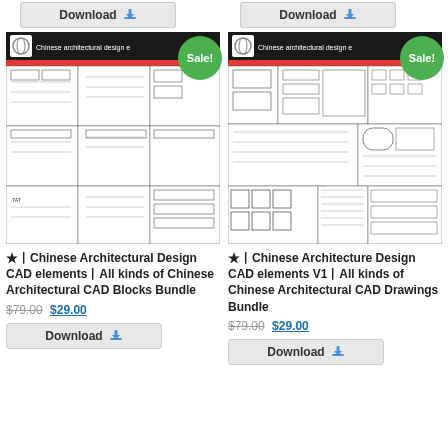[Figure (screenshot): Top partial Download button (left column)]
[Figure (screenshot): Top partial Download button (right column)]
[Figure (illustration): Chinese Architectural Design CAD elements product image with Sale! badge - left product]
★丨Chinese Architectural Design CAD elements丨All kinds of Chinese Architectural CAD Blocks Bundle
$79.00 $29.00
[Figure (screenshot): Download button - left product]
[Figure (illustration): Chinese Architecture Design CAD elements V1 product image with Sale! badge - right product]
★丨Chinese Architecture Design CAD elements V1丨All kinds of Chinese Architectural CAD Drawings Bundle
$79.00 $29.00
[Figure (screenshot): Download button - right product]